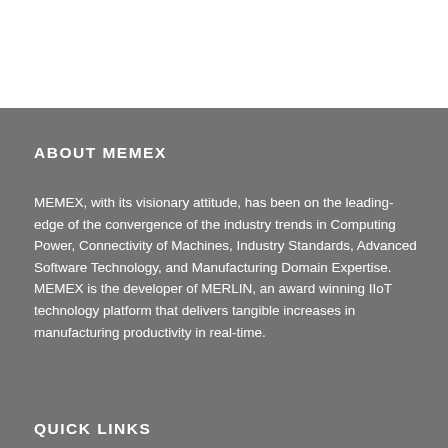ABOUT MEMEX
MEMEX, with its visionary attitude, has been on the leading-edge of the convergence of the industry trends in Computing Power, Connectivity of Machines, Industry Standards, Advanced Software Technology, and Manufacturing Domain Expertise. MEMEX is the developer of MERLIN, an award winning IIoT technology platform that delivers tangible increases in manufacturing productivity in real-time.
QUICK LINKS